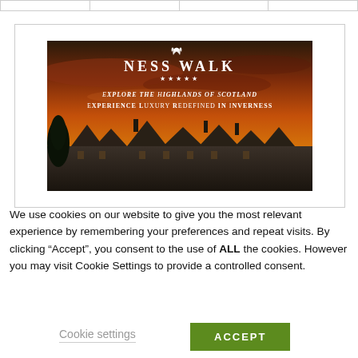|   |   |   |   |
[Figure (photo): Ness Walk hotel advertisement showing a luxury Scottish hotel at sunset with dramatic orange-red sky. White logo with leaf/feather icon reads 'NESS WALK' with five stars below. Text reads 'Explore the Highlands of Scotland / Experience Luxury Redefined in Inverness']
We use cookies on our website to give you the most relevant experience by remembering your preferences and repeat visits. By clicking “Accept”, you consent to the use of ALL the cookies. However you may visit Cookie Settings to provide a controlled consent.
Cookie settings
ACCEPT